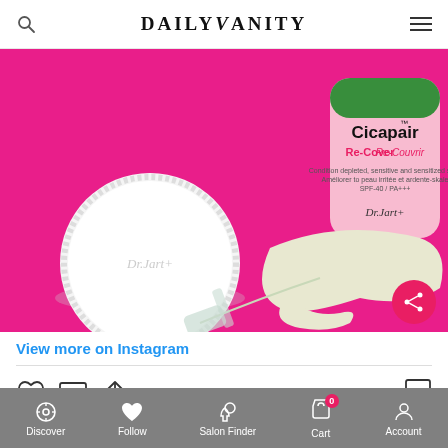DAILY VANITY
[Figure (photo): Dr. Jart+ Cicapair Re-Cover product photo on pink background with lid open, cream swatch spread, and spatula]
View more on Instagram
[Figure (infographic): Instagram interaction icons: heart (like), comment bubble, share arrow, and bookmark]
45 likes
Discover  Follow  Salon Finder  Cart 0  Account